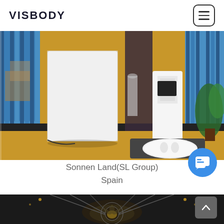VISBODY
[Figure (photo): Indoor photo showing a white device/kiosk and a Visbody body scanner on a dark mat with yellow flooring, blue panel walls in background, person standing near device, and green plant on the right side]
Sonnen Land(SL Group)
Spain
[Figure (photo): Partial view of a decorative ceiling with geometric patterns, visible at the bottom of the page]